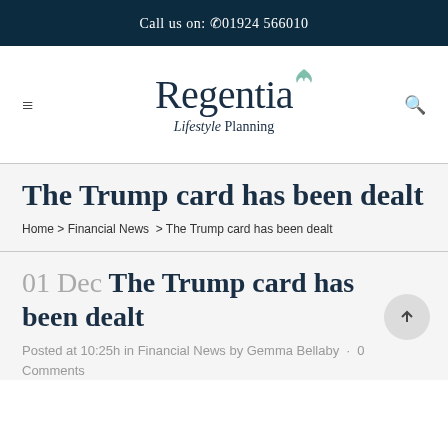Call us on: ✆01924 566010
[Figure (logo): Regentia Lifestyle Planning logo with leaf icon]
The Trump card has been dealt
Home > Financial News > The Trump card has been dealt
01 Dec The Trump card has been dealt
Posted at 10:25h in Financial News by Gemma Bellaby · 0 Comments